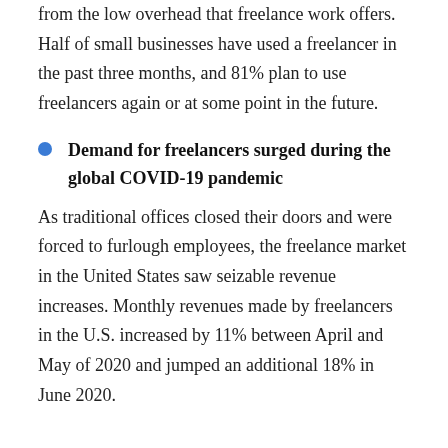from the low overhead that freelance work offers. Half of small businesses have used a freelancer in the past three months, and 81% plan to use freelancers again or at some point in the future.
Demand for freelancers surged during the global COVID-19 pandemic
As traditional offices closed their doors and were forced to furlough employees, the freelance market in the United States saw seizable revenue increases. Monthly revenues made by freelancers in the U.S. increased by 11% between April and May of 2020 and jumped an additional 18% in June 2020.